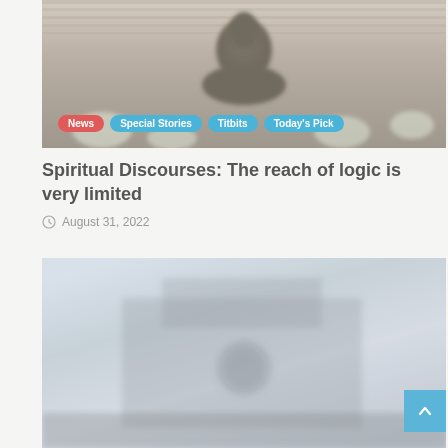[Figure (photo): A Buddha statue on a decorative background with flowers, partially faded/muted. Tags overlay the bottom: News, Special Stories, Titbits, Today's Pick.]
Spiritual Discourses: The reach of logic is very limited
August 31, 2022
[Figure (photo): A blurred/faded image of a building exterior with crowds or people in front, with a scroll-to-top button (chevron up) in the bottom-right corner.]